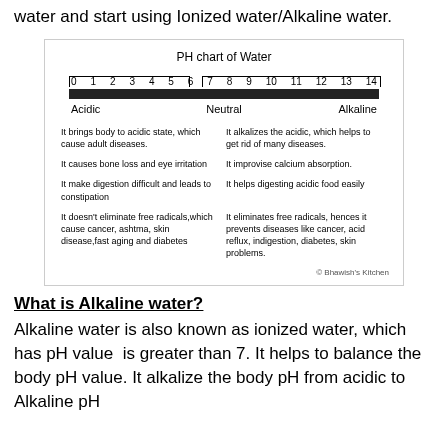water and start using Ionized water/Alkaline water.
[Figure (infographic): PH chart of Water showing acidic (0-6), neutral (7), and alkaline (8-14) scale with a comparison of regular water vs alkaline/ionized water properties. Includes bracket over alkaline range, pH number scale, black bar, labels: Acidic, Neutral, Alkaline. Below: 4 rows comparing negative effects of acidic water (left) vs benefits of alkaline water (right). Copyright Bhawish's Kitchen.]
What is Alkaline water?
Alkaline water is also known as ionized water, which has pH value  is greater than 7. It helps to balance the body pH value. It alkalize the body pH from acidic to Alkaline pH